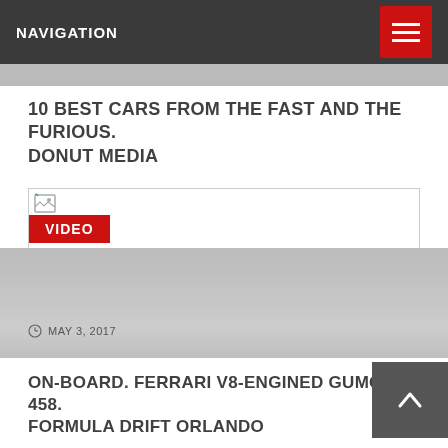NAVIGATION
10 BEST CARS FROM THE FAST AND THE FURIOUS. DONUT MEDIA
[Figure (screenshot): Video thumbnail placeholder with a small broken image icon in the top-left corner and a red VIDEO badge overlay]
[Figure (screenshot): Gray gradient card image showing date MAY 3, 2017 with a clock icon]
ON-BOARD. FERRARI V8-ENGINED GUMOUT 458. FORMULA DRIFT ORLANDO